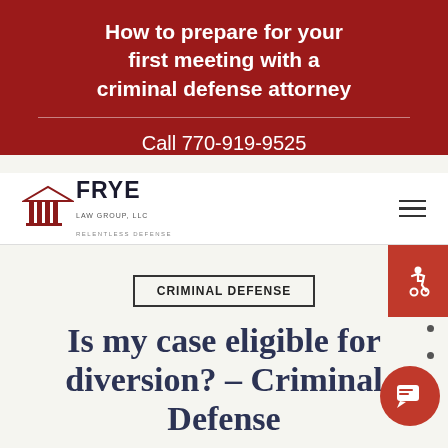How to prepare for your first meeting with a criminal defense attorney
Call 770-919-9525
[Figure (logo): Frye Law Group, LLC logo with red column icon and text FRYE LAW GROUP, LLC RELENTLESS DEFENSE]
CRIMINAL DEFENSE
Is my case eligible for diversion? – Criminal Defense